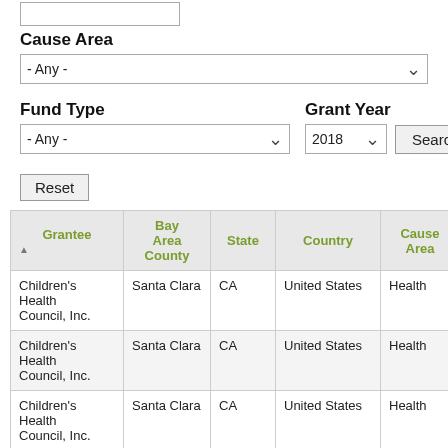Cause Area
- Any - (dropdown)
Fund Type
- Any - (dropdown)
Grant Year
2018 (dropdown)
Search (button)
Reset (button)
| Grantee | Bay Area County | State | Country | Cause Area |
| --- | --- | --- | --- | --- |
| Children's Health Council, Inc. | Santa Clara | CA | United States | Health |
| Children's Health Council, Inc. | Santa Clara | CA | United States | Health |
| Children's Health Council, Inc. | Santa Clara | CA | United States | Health |